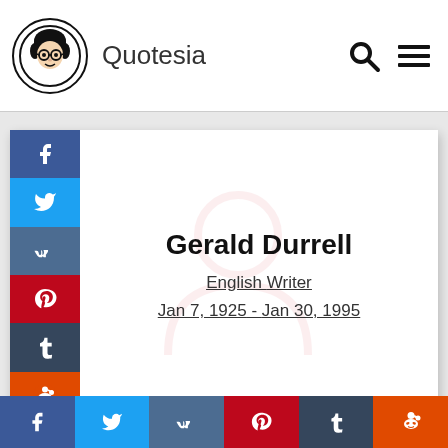Quotesia
[Figure (infographic): Gerald Durrell profile card with social share buttons. Name: Gerald Durrell. Description: English Writer. Dates: Jan 7, 1925 - Jan 30, 1995. Social buttons: Facebook, Twitter, VK, Pinterest, Tumblr, Reddit.]
Gerald Durrell
English Writer
Jan 7, 1925 - Jan 30, 1995